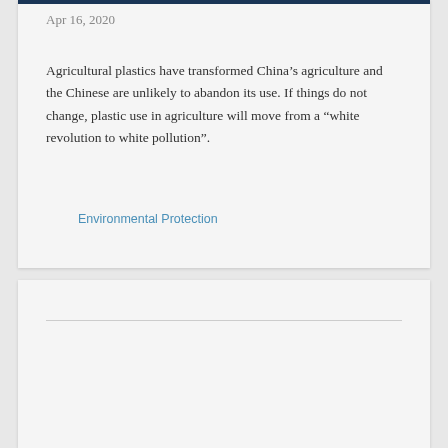Apr 16, 2020
Agricultural plastics have transformed China’s agriculture and the Chinese are unlikely to abandon its use. If things do not change, plastic use in agriculture will move from a “white revolution to white pollution”.
Environmental Protection